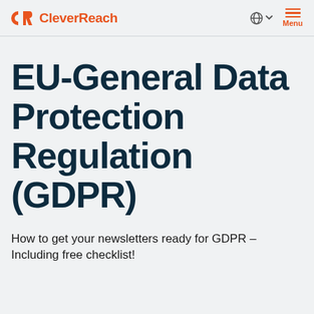CleverReach
EU-General Data Protection Regulation (GDPR)
How to get your newsletters ready for GDPR – Including free checklist!